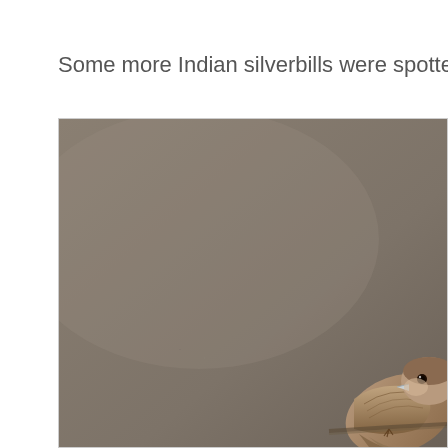Some more Indian silverbills were spotted...
[Figure (photo): A photo of an Indian silverbill bird, partially cropped. The majority of the image shows a blurred brownish-grey background (out-of-focus natural setting), with the bird visible in the lower-right corner showing its brown/tan plumage.]